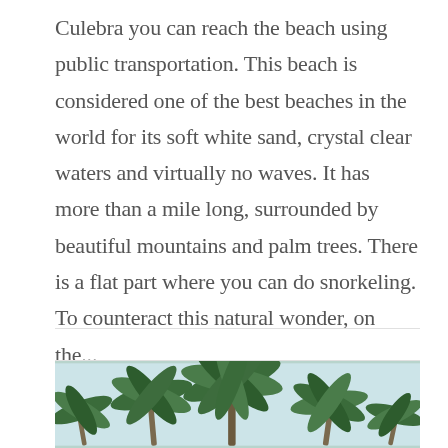Culebra you can reach the beach using public transportation. This beach is considered one of the best beaches in the world for its soft white sand, crystal clear waters and virtually no waves. It has more than a mile long, surrounded by beautiful mountains and palm trees. There is a flat part where you can do snorkeling. To counteract this natural wonder, on the...
[Figure (photo): Photograph of palm trees with green fronds against a light sky, viewed from below looking upward.]